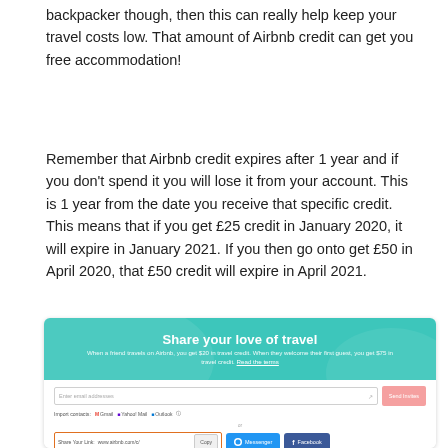backpacker though, then this can really help keep your travel costs low. That amount of Airbnb credit can get you free accommodation!
Remember that Airbnb credit expires after 1 year and if you don't spend it you will lose it from your account. This is 1 year from the date you receive that specific credit. This means that if you get £25 credit in January 2020, it will expire in January 2021. If you then go onto get £50 in April 2020, that £50 credit will expire in April 2021.
[Figure (screenshot): Airbnb referral/share interface showing 'Share your love of travel' header in teal, with email invite field, import contacts row (Gmail, Yahoo Mail, Outlook), share link box showing www.airbnb.com/c/ with Copy button, Messenger button, and Facebook button.]